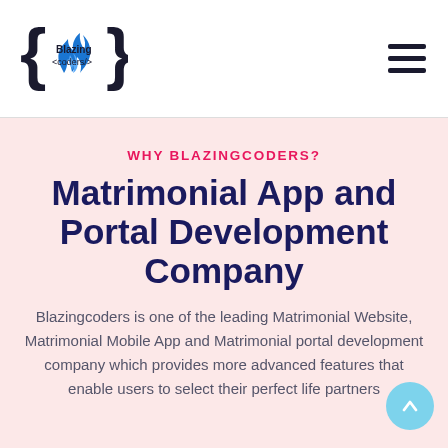Blazing coders logo and navigation
WHY BLAZINGCODERS?
Matrimonial App and Portal Development Company
Blazingcoders is one of the leading Matrimonial Website, Matrimonial Mobile App and Matrimonial portal development company which provides more advanced features that enable users to select their perfect life partners